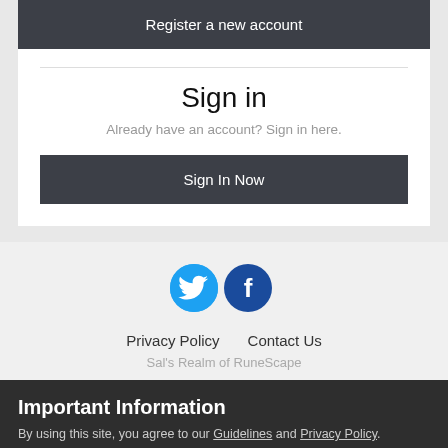Register a new account
Sign in
Already have an account? Sign in here.
Sign In Now
[Figure (illustration): Twitter and Facebook social media icon circles]
Privacy Policy   Contact Us
Sal's Realm of RuneScape
Important Information
By using this site, you agree to our Guidelines and Privacy Policy.
✓  I accept